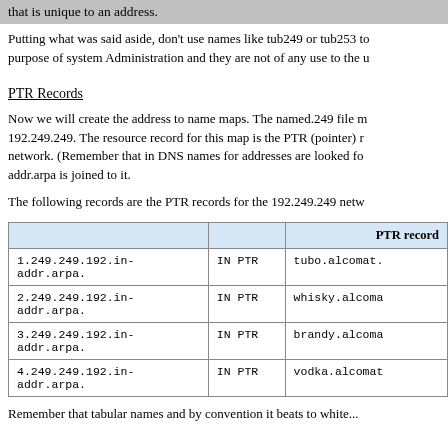that is unique to an address.
Putting what was said aside, don't use names like tub249 or tub253 to purpose of system Administration and they are not of any use to the u
PTR Records
Now we will create the address to name maps. The named.249 file m 192.249.249. The resource record for this map is the PTR (pointer) r network. (Remember that in DNS names for addresses are looked fo addr.arpa is joined to it.
The following records are the PTR records for the 192.249.249 netw
|  |  | PTR record |
| --- | --- | --- |
| 1.249.249.192.in-addr.arpa. | IN PTR | tubo.alcomat. |
| 2.249.249.192.in-addr.arpa. | IN PTR | whisky.alcoma |
| 3.249.249.192.in-addr.arpa. | IN PTR | brandy.alcoma |
| 4.249.249.192.in-addr.arpa. | IN PTR | vodka.alcomat |
Remember that tabular names and by convention it beats to white...